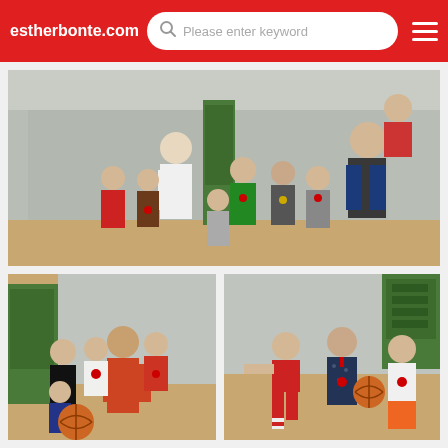estherbonte.com  Please enter keyword
[Figure (photo): Group photo of children and two adults on an indoor basketball court. Children are wearing medals. One adult in white jacket stands center, another adult in dark jacket on right holds a child up. About 10 children pose in front.]
[Figure (photo): A coach/adult holding two young boys, with a girl in black standing beside them. A basketball is on the floor. Indoor basketball court background with green banner.]
[Figure (photo): Three young boys standing together on a basketball court. The middle boy in a red basketball uniform holds a basketball. The other two boys are wearing medals. Green banner visible in background.]